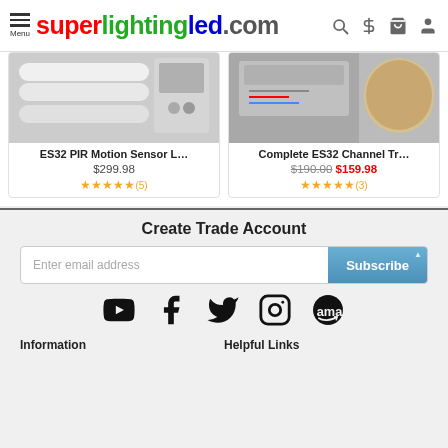superlightingled.com
[Figure (photo): ES32 PIR Motion Sensor LED product photo showing white cylindrical components and circuit board]
ES32 PIR Motion Sensor L…
$299.98
★★★★★(5)
[Figure (photo): Complete ES32 Channel Tr… product photo showing LED controller with wires and LED strip roll]
Complete ES32 Channel Tr…
$190.00 $159.98
★★★★★(3)
Create Trade Account
Enter email address
Subscribe
[Figure (infographic): Social media icons: YouTube, Facebook, Twitter, Instagram, Amazon]
Information
Helpful Links